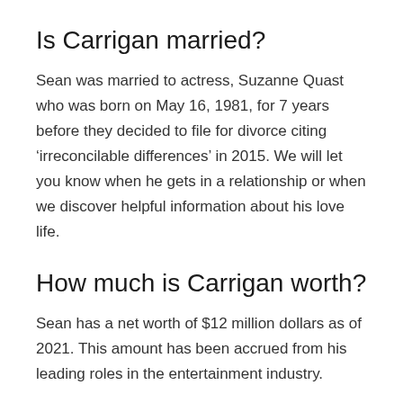Is Carrigan married?
Sean was married to actress, Suzanne Quast who was born on May 16, 1981, for 7 years before they decided to file for divorce citing ‘irreconcilable differences’ in 2015. We will let you know when he gets in a relationship or when we discover helpful information about his love life.
How much is Carrigan worth?
Sean has a net worth of $12 million dollars as of 2021. This amount has been accrued from his leading roles in the entertainment industry.